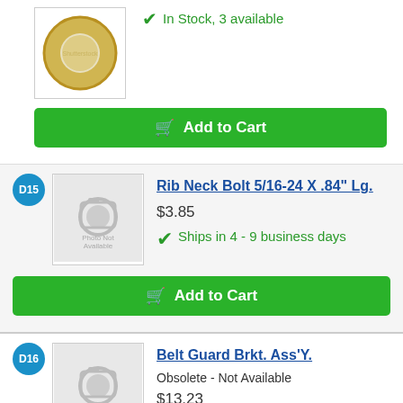[Figure (photo): Gold/brass washer ring, top portion cropped]
In Stock, 3 available
Add to Cart
D15
[Figure (photo): Photo Not Available placeholder image]
Rib Neck Bolt 5/16-24 X .84" Lg.
$3.85
Ships in 4 - 9 business days
Add to Cart
D16
[Figure (photo): Photo Not Available placeholder image]
Belt Guard Brkt. Ass'Y.
Obsolete - Not Available
$13.23
Discontinued